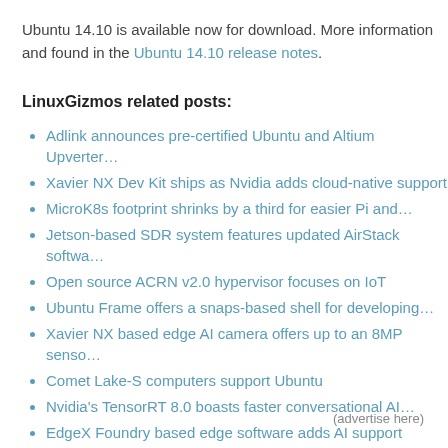Ubuntu 14.10 is available now for download. More information and found in the Ubuntu 14.10 release notes.
LinuxGizmos related posts:
Adlink announces pre-certified Ubuntu and Altium Upverter…
Xavier NX Dev Kit ships as Nvidia adds cloud-native support
MicroK8s footprint shrinks by a third for easier Pi and…
Jetson-based SDR system features updated AirStack softwa…
Open source ACRN v2.0 hypervisor focuses on IoT
Ubuntu Frame offers a snaps-based shell for developing…
Xavier NX based edge AI camera offers up to an 8MP senso…
Comet Lake-S computers support Ubuntu
Nvidia's TensorRT 8.0 boasts faster conversational AI…
EdgeX Foundry based edge software adds AI support
(advertise here)